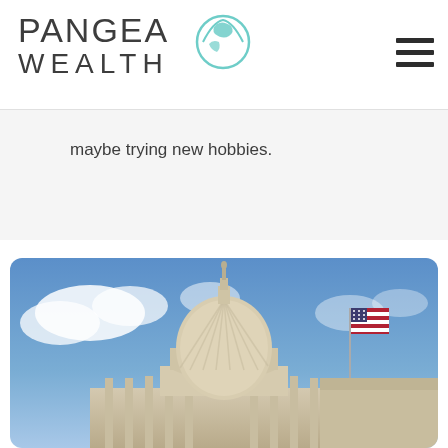[Figure (logo): Pangea Wealth logo with globe icon and text 'PANGEA WEALTH']
[Figure (illustration): Hamburger menu icon (three horizontal lines) in top right corner]
maybe trying new hobbies.
[Figure (photo): Photograph of the United States Capitol building dome against a blue sky with clouds, with an American flag on a flagpole to the right]
By continuing to use this site, you consent to our use of cookies.
ACCEPT